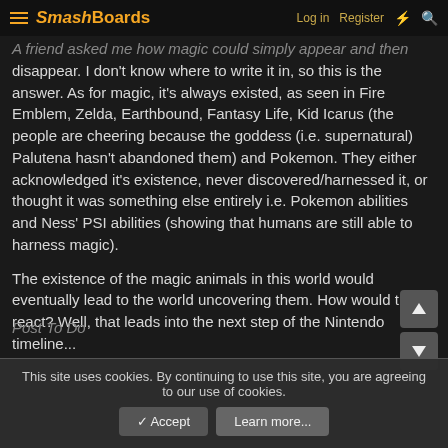SmashBoards | Log in | Register
A friend asked me how magic could simply appear and then disappear. I don't know where to write it in, so this is the answer. As for magic, it's always existed, as seen in Fire Emblem, Zelda, Earthbound, Fantasy Life, Kid Icarus (the people are cheering because the goddess (i.e. supernatural) Palutena hasn't abandoned them) and Pokemon. They either acknowledged it's existence, never discovered/harnessed it, or thought it was something else entirely i.e. Pokemon abilities and Ness' PSI abilities (showing that humans are still able to harness magic).
The existence of the magic animals in this world would eventually lead to the world uncovering them. How would they react? Well, that leads into the next step of the Nintendo timeline...
Post To Do
This site uses cookies. By continuing to use this site, you are agreeing to our use of cookies.